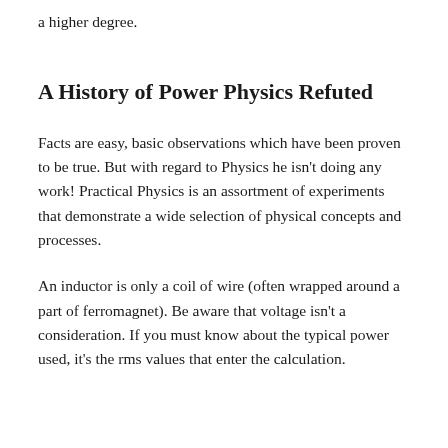a higher degree.
A History of Power Physics Refuted
Facts are easy, basic observations which have been proven to be true. But with regard to Physics he isn't doing any work! Practical Physics is an assortment of experiments that demonstrate a wide selection of physical concepts and processes.
An inductor is only a coil of wire (often wrapped around a part of ferromagnet). Be aware that voltage isn't a consideration. If you must know about the typical power used, it's the rms values that enter the calculation.